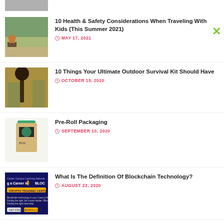[Figure (photo): Partial top image cropped]
10 Health & Safety Considerations When Traveling With Kids (This Summer 2021) — MAY 17, 2021
10 Things Your Ultimate Outdoor Survival Kit Should Have — OCTOBER 15, 2020
Pre-Roll Packaging — SEPTEMBER 10, 2020
What Is The Definition Of Blockchain Technology? — AUGUST 22, 2020
How Does YouTube Count Views — OCTOBER 19, 2020